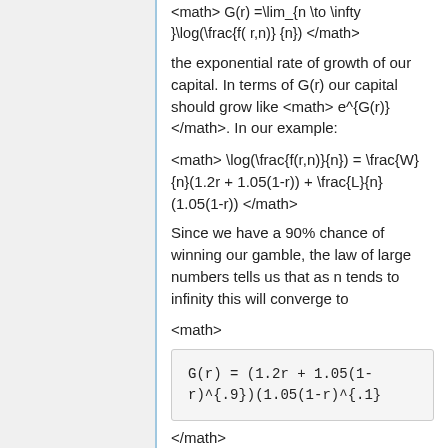the exponential rate of growth of our capital. In terms of G(r) our capital should grow like <math> e^{G(r)} </math>. In our example:
Since we have a 90% chance of winning our gamble, the law of large numbers tells us that as n tends to infinity this will converge to
<math>
</math>